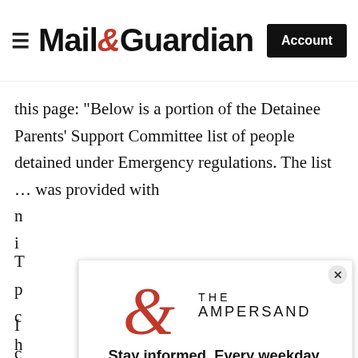Mail&Guardian — Account
this page: “Below is a portion of the Detainee Parents’ Support Committee list of people detained under Emergency regulations. The list … was provided with n... i...
T... p... c... h... n a...
I... ls c...; s...
[Figure (logo): The Ampersand modal popup with Mail & Guardian ampersand logo, tagline 'Stay informed. Every weekday.', email address input field, and Signup now button]